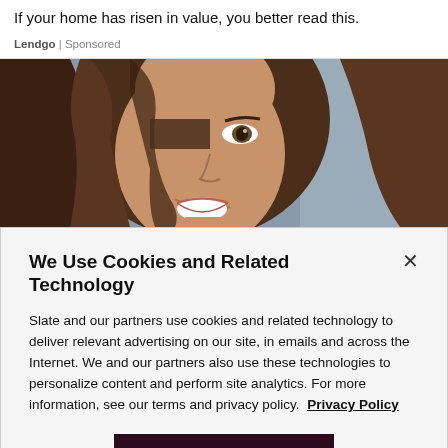If your home has risen in value, you better read this.
Lendgo | Sponsored
[Figure (photo): Close-up photo of a smiling young woman with long brown hair, one eye partially covered by hair, blurred background]
We Use Cookies and Related Technology
Slate and our partners use cookies and related technology to deliver relevant advertising on our site, in emails and across the Internet. We and our partners also use these technologies to personalize content and perform site analytics. For more information, see our terms and privacy policy.  Privacy Policy
OK